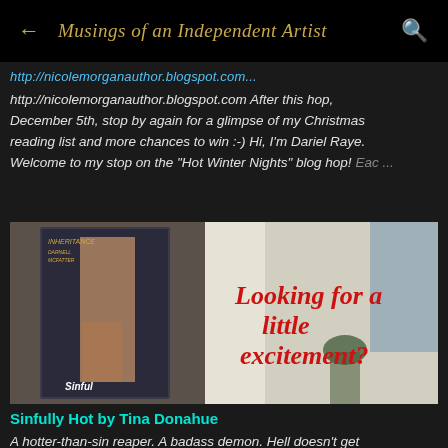← Musings of an Independent Artist 🔍
http://nicolemorganauthor.blogspot.com After this hop, December 5th, stop by again for a glimpse of my Christmas reading list and more chances to win :-) Hi, I'm Dariel Raye. Welcome to my stop on the "Hot Winter Nights" blog hop! Eac ...
[Figure (photo): Promotional book cover image for 'Sinfully Hot' showing a shirtless man and a woman against a brick wall, with red italic text overlay reading 'Looking for a little excitement?']
Sinfully Hot by Tina Donahue
A hotter-than-sin reaper. A badass demon. Hell doesn't get